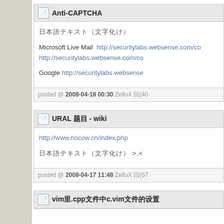Anti-CAPTCHA
日本語テキスト（文字化け）
Microsoft Live Mail  http://securitylabs.websense.com/co... http://securitylabs.websense.com/co...
Google http://securitylabs.websense.com/...
posted @ 2008-04-18 00:30 ZelluX 回(40...
URAL 题目 - wiki
http://www.nocow.cn/index.php
日本語テキスト（文字化け） >,<
posted @ 2008-04-17 11:48 ZelluX 回(67...
vim里.cpp文件中c.vim文件的设置